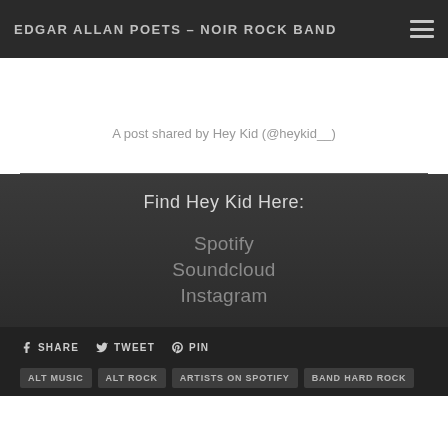EDGAR ALLAN POETS – NOIR ROCK BAND
A post shared by Hey Kid (@heykid__)
Find Hey Kid Here:
Spotify
Soundcloud
Instagram
SHARE   TWEET   PIN
ALT MUSIC   ALT ROCK   ARTISTS ON SPOTIFY   BAND HARD ROCK